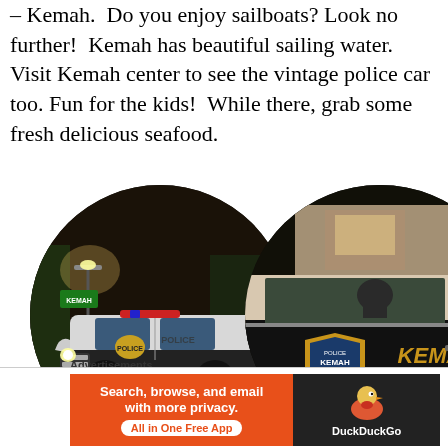– Kemah.  Do you enjoy sailboats? Look no further!  Kemah has beautiful sailing water.  Visit Kemah center to see the vintage police car too.  Fun for the kids!  While there, grab some fresh delicious seafood.
[Figure (photo): Two circular-cropped night photos of vintage Kemah police cars. Left: black and white classic police cruiser from the front-side view under streetlights. Right: close-up of the side door with gold badge and 'KEMA' lettering on a dark car with a light-colored roof, also at night.]
Advertisements
[Figure (screenshot): DuckDuckGo advertisement banner. Orange left side reads 'Search, browse, and email with more privacy.' with 'All in One Free App' button. Black right side shows DuckDuckGo duck logo and brand name.]